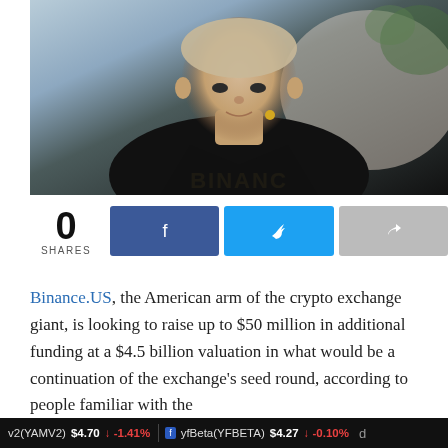[Figure (photo): Man wearing a black Binance t-shirt and blazer speaking at an event, with a yellow lapel microphone. Background shows plants and a light-colored wall.]
0
SHARES
Binance.US, the American arm of the crypto exchange giant, is looking to raise up to $50 million in additional funding at a $4.5 billion valuation in what would be a continuation of the exchange's seed round, according to people familiar with the
v2(YAMV2) $4.70 ↓ -1.41%   yfBeta(YFBETA) $4.27 ↓ -0.10%